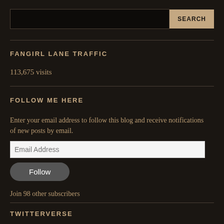[Figure (screenshot): Search input box (black background) and SEARCH button (tan/beige)]
FANGIRL LANE TRAFFIC
113,675 visits
FOLLOW ME HERE
Enter your email address to follow this blog and receive notifications of new posts by email.
Email Address
Follow
Join 98 other subscribers
TWITTERVERSE